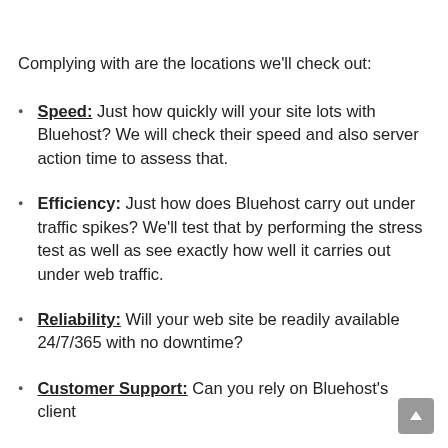Complying with are the locations we'll check out:
Speed: Just how quickly will your site lots with Bluehost? We will check their speed and also server action time to assess that.
Efficiency: Just how does Bluehost carry out under traffic spikes? We'll test that by performing the stress test as well as see exactly how well it carries out under web traffic.
Reliability: Will your web site be readily available 24/7/365 with no downtime?
Customer Support: Can you rely on Bluehost's client